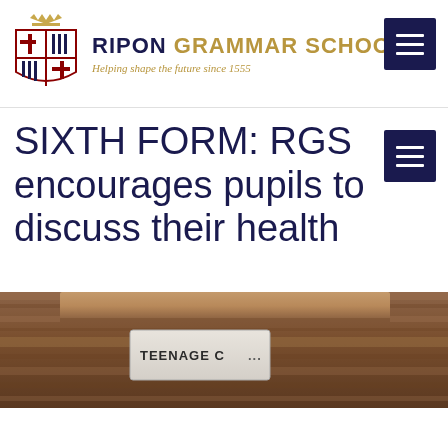RIPON GRAMMAR SCHOOL — Helping shape the future since 1555
SIXTH FORM: RGS encourages pupils to discuss their health
[Figure (photo): Close-up photo of a wooden ceiling with a sign reading 'TEENAGE C...' (partially visible)]